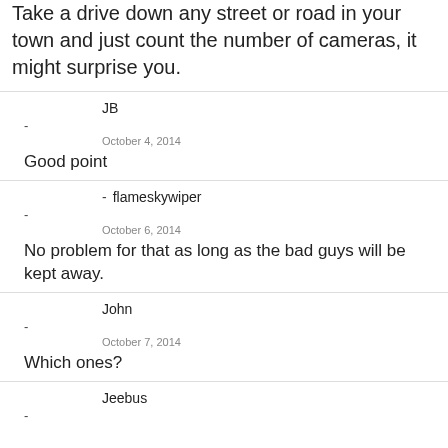Take a drive down any street or road in your town and just count the number of cameras, it might surprise you.
JB
-
October 4, 2014
Good point
- flameskywiper
-
October 6, 2014
No problem for that as long as the bad guys will be kept away.
John
-
October 7, 2014
Which ones?
Jeebus
-